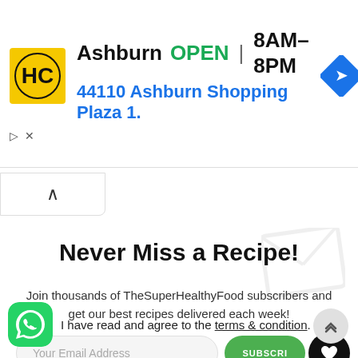[Figure (screenshot): Advertisement banner for HC (Hardee's/similar) showing Ashburn location, OPEN status, hours 8AM-8PM, address 44110 Ashburn Shopping Plaza 1., with yellow HC logo and blue navigation arrow icon]
Never Miss a Recipe!
Join thousands of TheSuperHealthyFood subscribers and get our best recipes delivered each week!
Your Email Address  SUBSCRI...
I have read and agree to the terms & conditions